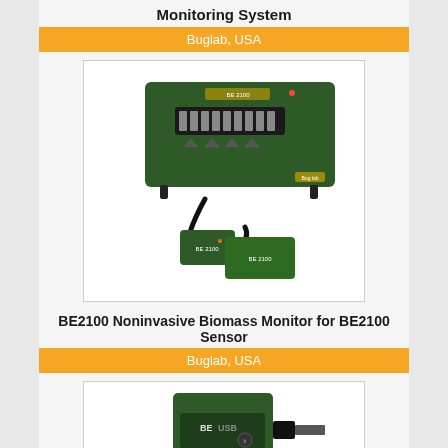Monitoring System
Buglab, USA
[Figure (photo): BE2100 Noninvasive Biomass Monitor device — a dark green rectangular box with digital display and four triangular buttons on front, connected via cable to two green sensor modules]
BE2100 Noninvasive Biomass Monitor for BE2100 Sensor
Buglab, USA
[Figure (photo): Partial view of another Buglab device — a dark green compact unit labeled BE USB, partially visible at bottom of page]